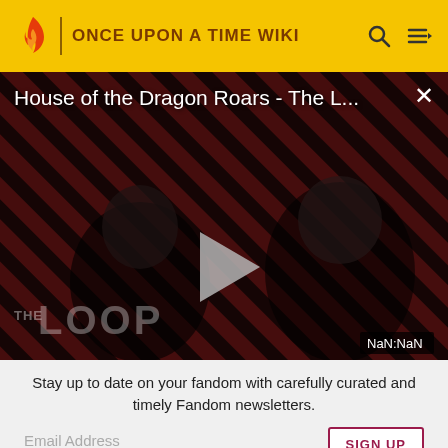ONCE UPON A TIME WIKI
[Figure (screenshot): Video player showing 'House of the Dragon Roars - The L...' with a play button overlay, diagonal red and black striped background, two dark silhouetted figures, THE LOOP watermark, and NaN:NaN timestamp]
Stay up to date on your fandom with carefully curated and timely Fandom newsletters.
Email Address
SIGN UP